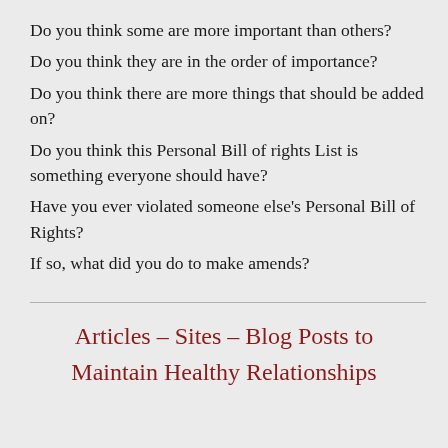Do you think some are more important than others?
Do you think they are in the order of importance?
Do you think there are more things that should be added on?
Do you think this Personal Bill of rights List is something everyone should have?
Have you ever violated someone else's Personal Bill of Rights?
If so, what did you do to make amends?
Articles – Sites – Blog Posts to Maintain Healthy Relationships